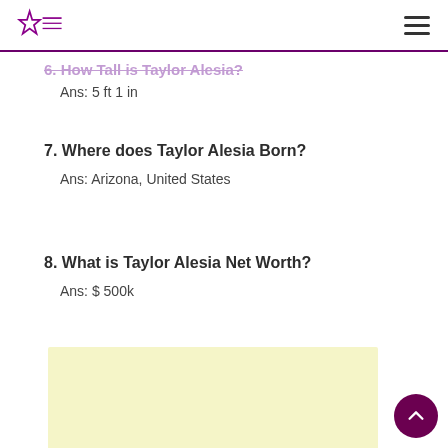TheStarFact.com navigation header
Ans: 5 ft 1 in
7. Where does Taylor Alesia Born?
Ans: Arizona, United States
8. What is Taylor Alesia Net Worth?
Ans: $ 500k
[Figure (other): Advertisement placeholder box with light yellow background]